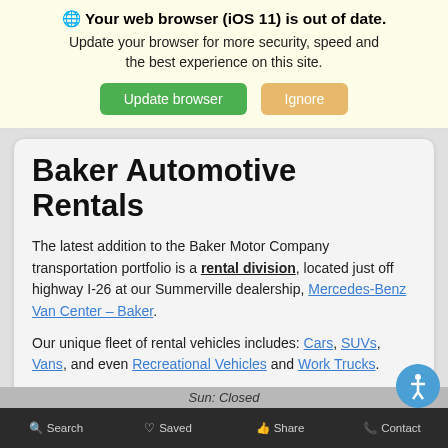🌐 Your web browser (iOS 11) is out of date. Update your browser for more security, speed and the best experience on this site.
Baker Automotive Rentals
The latest addition to the Baker Motor Company transportation portfolio is a rental division, located just off highway I-26 at our Summerville dealership, Mercedes-Benz Van Center – Baker.
Our unique fleet of rental vehicles includes: Cars, SUVs, Vans, and even Recreational Vehicles and Work Trucks.
Learn More
Sun: Closed
Search  Saved  Share  Contact